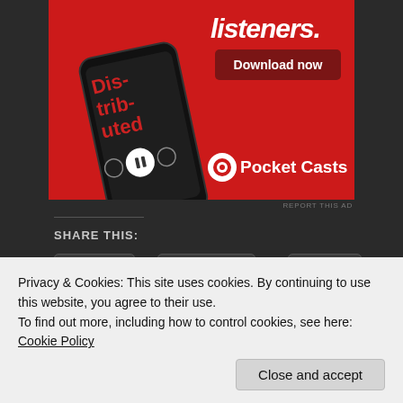[Figure (screenshot): Pocket Casts app advertisement showing a smartphone with the app open on a red background, with text 'listeners.' and a 'Download now' button, and the Pocket Casts logo at the bottom right]
REPORT THIS AD
Share this:
Twitter
Facebook
More
Like
Privacy & Cookies: This site uses cookies. By continuing to use this website, you agree to their use.
To find out more, including how to control cookies, see here: Cookie Policy
Close and accept